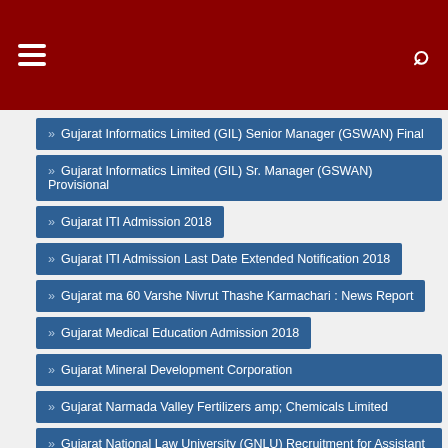Navigation header with hamburger menu and search icon
Gujarat Informatics Limited (GIL) Senior Manager (GSWAN) Final
Gujarat Informatics Limited (GIL) Sr. Manager (GSWAN) Provisional
Gujarat ITI Admission 2018
Gujarat ITI Admission Last Date Extended Notification 2018
Gujarat ma 60 Varshe Nivrut Thashe Karmachari : News Report
Gujarat Medical Education Admission 2018
Gujarat Mineral Development Corporation
Gujarat Narmada Valley Fertilizers amp; Chemicals Limited
Gujarat National Law University (GNLU) Recruitment for Assistant
Gujarat National Law University (GNLU) Recruitment for Museum
Gujarat National Law University (GNLU) Recruitment for Project
gujarat new bharti 2018
gujarat news